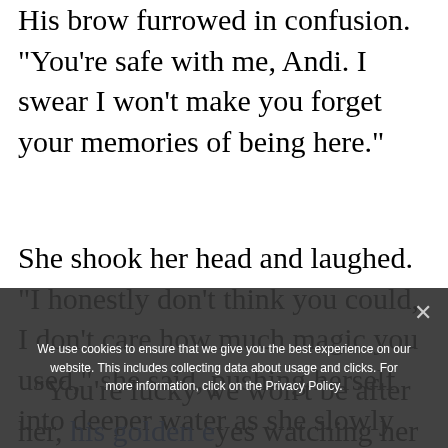His brow furrowed in confusion. "You're safe with me, Andi. I swear I won't make you forget your memories of being here."
She shook her head and laughed. "I honestly don't think you could, I don't care how much magic you used," she said, pushing herself into deeper water as she slowly made up her mind.
"You're lucky we won't be after her, his golden eyes watching her as he hovered in
We use cookies to ensure that we give you the best experience on our website. This includes collecting data about usage and clicks. For more information, click on the Privacy Policy.